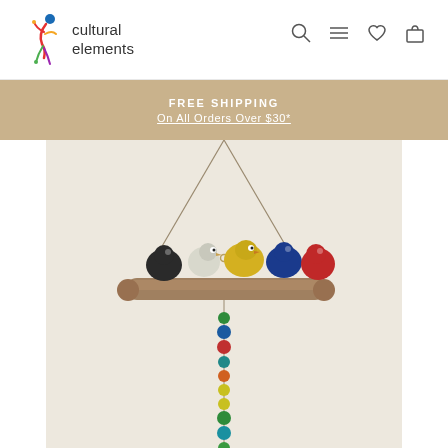[Figure (logo): Cultural Elements logo: a colorful abstract figure icon beside the text 'cultural elements' in two lines]
FREE SHIPPING
On All Orders Over $30*
[Figure (photo): Product photo of a hanging wind chime / mobile featuring four ceramic birds (black, white, yellow, blue, red) perched on a driftwood log, with colorful beads hanging below, against a cream background]